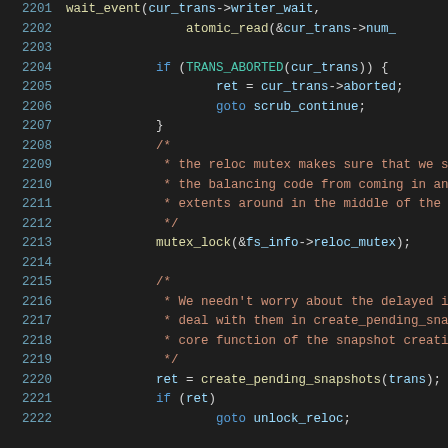[Figure (screenshot): Source code screenshot showing C code lines 2201-2222 with syntax highlighting on dark background. Code shows transaction handling with wait_event, TRANS_ABORTED check, mutex_lock, and create_pending_snapshots calls.]